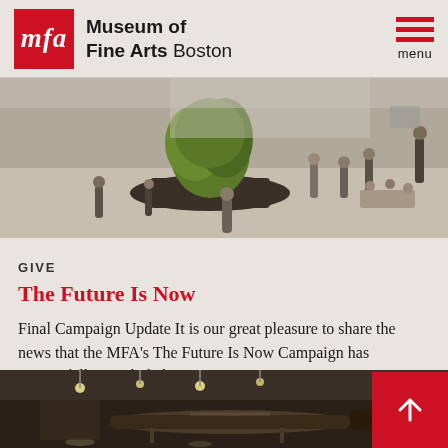Museum of Fine Arts Boston — menu
[Figure (photo): Museum atrium with people walking and sitting, large green plant visible, tilt-shift photography effect]
GIVE
The Future Is Now
Final Campaign Update It is our great pleasure to share the news that the MFA's The Future Is Now Campaign has successfully concluded, meeting its...
[Figure (photo): Museum interior with dark ceiling, hanging lights, and large aircraft or helicopter exhibit visible]